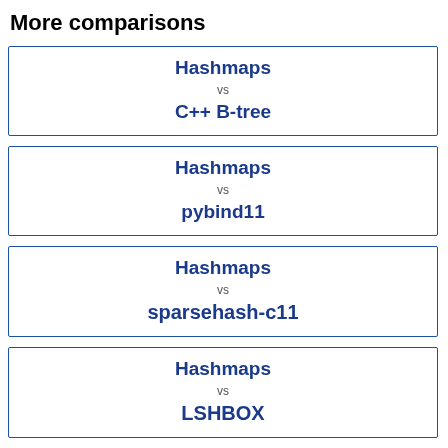More comparisons
Hashmaps vs C++ B-tree
Hashmaps vs pybind11
Hashmaps vs sparsehash-c11
Hashmaps vs LSHBOX
Hashmaps vs ...